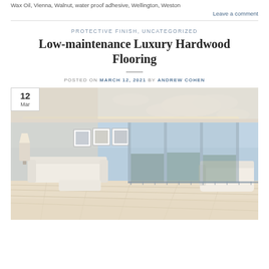Wax Oil, Vienna, Walnut, water proof adhesive, Wellington, Weston
Leave a comment
PROTECTIVE FINISH, UNCATEGORIZED
Low-maintenance Luxury Hardwood Flooring
POSTED ON MARCH 12, 2021 BY ANDREW COHEN
[Figure (photo): Bright luxury high-rise bedroom with light hardwood flooring, white furniture, large floor-to-ceiling windows with city and sky view, and framed art on the wall. A date badge showing '12 Mar' overlays the top-left corner.]